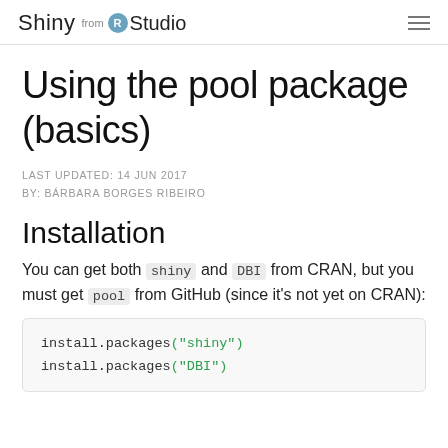Shiny from R Studio
Using the pool package (basics)
LAST UPDATED: 14 JUN 2017
BY: BÁRBARA BORGES RIBEIRO
Installation
You can get both shiny and DBI from CRAN, but you must get pool from GitHub (since it's not yet on CRAN):
install.packages("shiny")
install.packages("DBI")